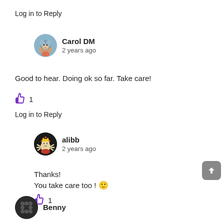Log in to Reply
Carol DM
2 years ago
Good to hear. Doing ok so far. Take care!
👍 1
Log in to Reply
alibb
2 years ago
Thanks!
You take care too ! 🙂
👍 1
Benny